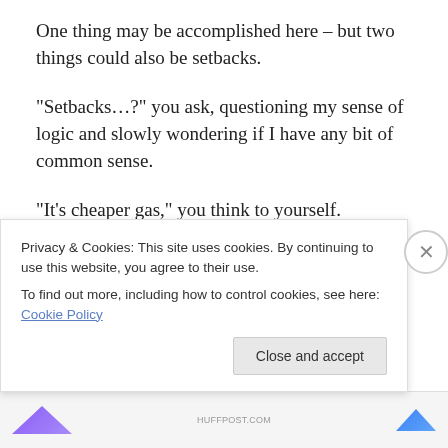One thing may be accomplished here – but two things could also be setbacks.
“Setbacks…?” you ask, questioning my sense of logic and slowly wondering if I have any bit of common sense.
“It’s cheaper gas,” you think to yourself.
The two main setbacks? Well let’s think:
A) You just wasted the current gas in your vehicle's tank
Privacy & Cookies: This site uses cookies. By continuing to use this website, you agree to their use.
To find out more, including how to control cookies, see here: Cookie Policy
Close and accept